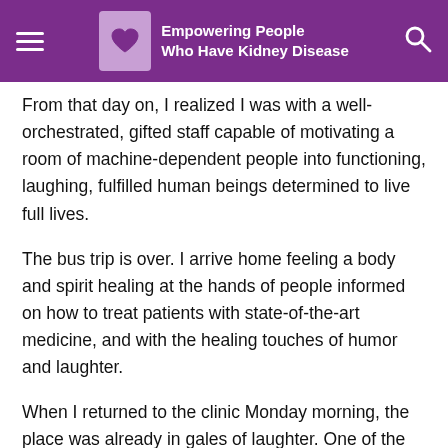Empowering People Who Have Kidney Disease
From that day on, I realized I was with a well-orchestrated, gifted staff capable of motivating a room of machine-dependent people into functioning, laughing, fulfilled human beings determined to live full lives.
The bus trip is over. I arrive home feeling a body and spirit healing at the hands of people informed on how to treat patients with state-of-the-art medicine, and with the healing touches of humor and laughter.
When I returned to the clinic Monday morning, the place was already in gales of laughter. One of the patients had complained she could not see the clock, so the nurse took the clock off the wall and placed it in her lap.
I thought of something I had read in the Old Testament: “A